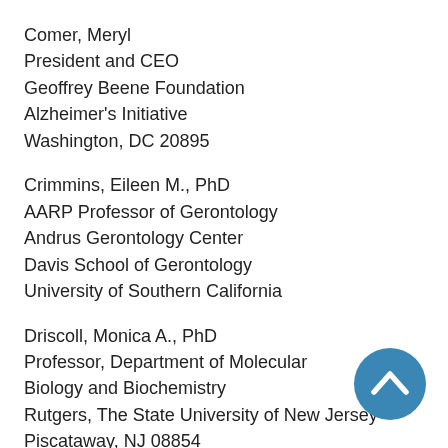Comer, Meryl
President and CEO
Geoffrey Beene Foundation
Alzheimer's Initiative
Washington, DC 20895
Crimmins, Eileen M., PhD
AARP Professor of Gerontology
Andrus Gerontology Center
Davis School of Gerontology
University of Southern California
Driscoll, Monica A., PhD
Professor, Department of Molecular Biology and Biochemistry
Rutgers, The State University of New Jersey
Piscataway, NJ 08854
[Figure (other): Blue circular back-to-top button with white upward chevron arrow icon]